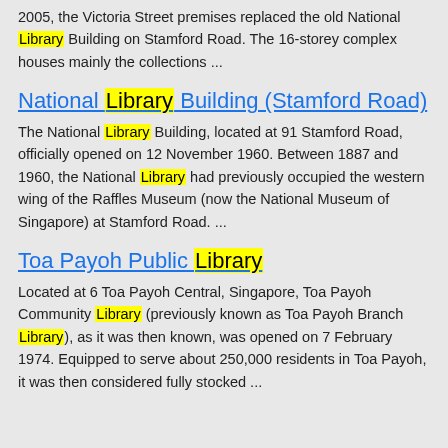2005, the Victoria Street premises replaced the old National Library Building on Stamford Road. The 16-storey complex houses mainly the collections ...
National Library Building (Stamford Road)
The National Library Building, located at 91 Stamford Road, officially opened on 12 November 1960. Between 1887 and 1960, the National Library had previously occupied the western wing of the Raffles Museum (now the National Museum of Singapore) at Stamford Road. ...
Toa Payoh Public Library
Located at 6 Toa Payoh Central, Singapore, Toa Payoh Community Library (previously known as Toa Payoh Branch Library), as it was then known, was opened on 7 February 1974. Equipped to serve about 250,000 residents in Toa Payoh, it was then considered fully stocked ...